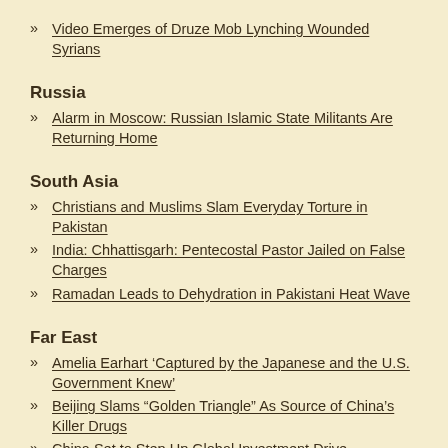Video Emerges of Druze Mob Lynching Wounded Syrians
Russia
Alarm in Moscow: Russian Islamic State Militants Are Returning Home
South Asia
Christians and Muslims Slam Everyday Torture in Pakistan
India: Chhattisgarh: Pentecostal Pastor Jailed on False Charges
Ramadan Leads to Dehydration in Pakistani Heat Wave
Far East
Amelia Earhart ‘Captured by the Japanese and the U.S. Government Knew’
Beijing Slams “Golden Triangle” As Source of China’s Killer Drugs
China Set to Step Up Global Investment Drive
Australia — Pacific